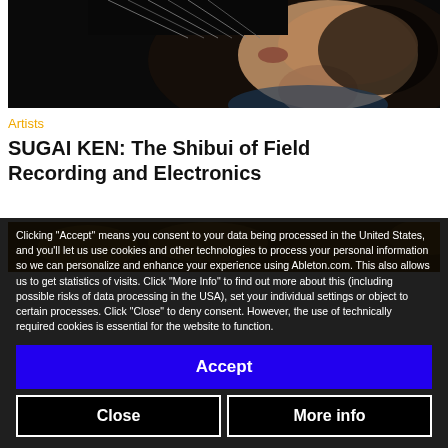[Figure (photo): Black and white photo of a person playing or interacting with a stringed instrument close to their face, dark background]
Artists
SUGAI KEN: The Shibui of Field Recording and Electronics
[Figure (photo): Partial view of a food/dish photograph, warm tones]
Clicking “Accept” means you consent to your data being processed in the United States, and you’ll let us use cookies and other technologies to process your personal information so we can personalize and enhance your experience using Ableton.com. This also allows us to get statistics of visits. Click “More Info” to find out more about this (including possible risks of data processing in the USA), set your individual settings or object to certain processes. Click “Close” to deny consent. However, the use of technically required cookies is essential for the website to function.
Accept
Close
More info